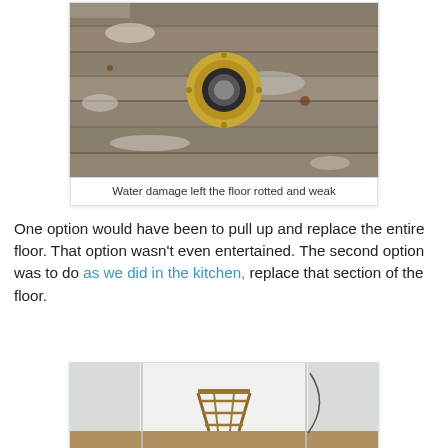[Figure (photo): Photo of a rotted and water-damaged wooden floor with a brass toilet flange ring visible in the center, showing deteriorated and discolored wood planks.]
Water damage left the floor rotted and weak
One option would have been to pull up and replace the entire floor. That option wasn't even entertained. The second option was to do as we did in the kitchen, replace that section of the floor.
[Figure (photo): Photo of a room interior with white walls/plastic sheeting, a wooden step ladder in the center, and floor visible at the bottom.]